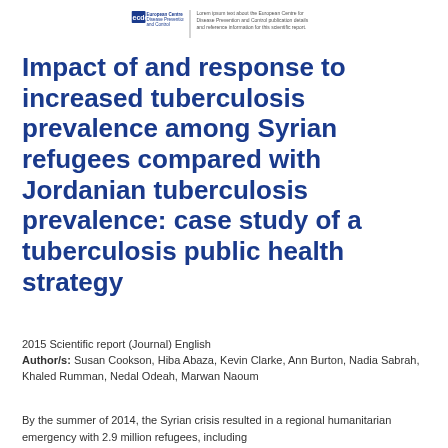ECDC logo and header text
Impact of and response to increased tuberculosis prevalence among Syrian refugees compared with Jordanian tuberculosis prevalence: case study of a tuberculosis public health strategy
2015 Scientific report (Journal) English
Author/s: Susan Cookson, Hiba Abaza, Kevin Clarke, Ann Burton, Nadia Sabrah, Khaled Rumman, Nedal Odeah, Marwan Naoum
By the summer of 2014, the Syrian crisis resulted in a regional humanitarian emergency with 2.9 million refugees, including